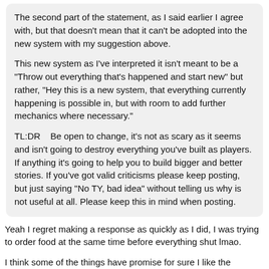The second part of the statement, as I said earlier I agree with, but that doesn't mean that it can't be adopted into the new system with my suggestion above.
This new system as I've interpreted it isn't meant to be a "Throw out everything that's happened and start new" but rather, "Hey this is a new system, that everything currently happening is possible in, but with room to add further mechanics where necessary."
TL:DR    Be open to change, it's not as scary as it seems and isn't going to destroy everything you've built as players. If anything it's going to help you to build bigger and better stories. If you've got valid criticisms please keep posting, but just saying "No TY, bad idea" without telling us why is not useful at all. Please keep this in mind when posting.
Yeah I regret making a response as quickly as I did, I was trying to order food at the same time before everything shut lmao.
I think some of the things have promise for sure I like the territories Idea but would prefer a constant progression alert instead, for example we could have "Ballas" in the area to watch the progress and notify any one else selling, maybe like every hour update. Personally I dont like the idea of not knowing whats going on in "your territory" until a restart has happened.
Im sorry if my replies were insensitive, that wasn't the goal. But my opinion is...